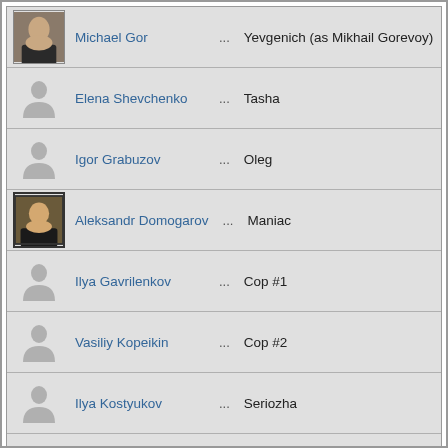| Photo | Actor |  | Role |
| --- | --- | --- | --- |
| [photo] | Michael Gor | ... | Yevgenich (as Mikhail Gorevoy) |
| [silhouette] | Elena Shevchenko | ... | Tasha |
| [silhouette] | Igor Grabuzov | ... | Oleg |
| [photo] | Aleksandr Domogarov | ... | Maniac |
| [silhouette] | Ilya Gavrilenkov | ... | Cop #1 |
| [silhouette] | Vasiliy Kopeikin | ... | Cop #2 |
| [silhouette] | Ilya Kostyukov | ... | Seriozha |
| [silhouette] | Fedor Starykh | ... | Hamlet |
Produced by
Sofiko Kiknavelidze
Layout, reviews and code © 2000-2022 | Privacy Policy Contact: